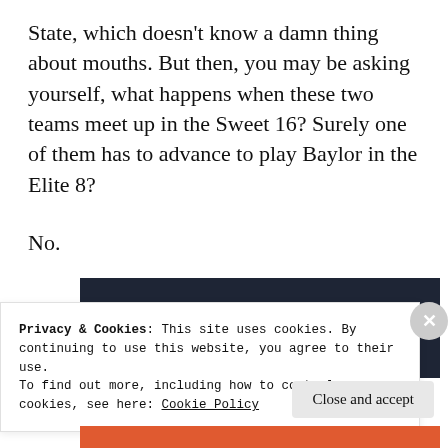State, which doesn't know a damn thing about mouths. But then, you may be asking yourself, what happens when these two teams meet up in the Sweet 16? Surely one of them has to advance to play Baylor in the Elite 8?
No.
[Figure (other): Dark navy advertisement banner with a teal 'Learn More' rounded button on the left side.]
Privacy & Cookies: This site uses cookies. By continuing to use this website, you agree to their use.
To find out more, including how to control cookies, see here: Cookie Policy